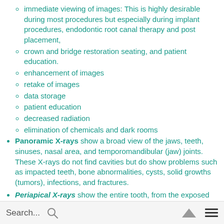immediate viewing of images: This is highly desirable during most procedures but especially during implant procedures, endodontic root canal therapy and post placement,
crown and bridge restoration seating, and patient education.
enhancement of images
retake of images
data storage
patient education
decreased radiation
elimination of chemicals and dark rooms
Panoramic X-rays show a broad view of the jaws, teeth, sinuses, nasal area, and temporomandibular (jaw) joints. These X-rays do not find cavities but do show problems such as impacted teeth, bone abnormalities, cysts, solid growths (tumors), infections, and fractures.
Periapical X-rays show the entire tooth, from the exposed crown to the end of the root and the bones that support the tooth. These X-rays are used to find dental problems
Search...